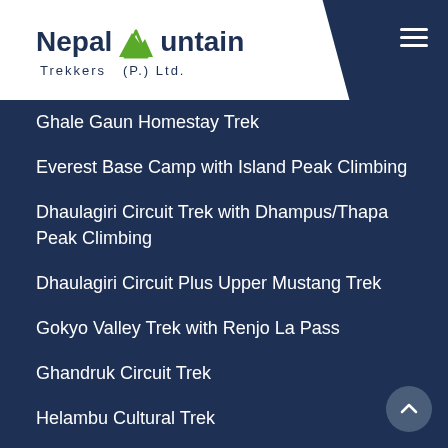[Figure (logo): Nepal Mountain Trekkers (P) Ltd. logo with stylized mountain icon in green]
Ghale Gaun Homestay Trek
Everest Base Camp with Island Peak Climbing
Dhaulagiri Circuit Trek with Dhampus/Thapa Peak Climbing
Dhaulagiri Circuit Plus Upper Mustang Trek
Gokyo Valley Trek with Renjo La Pass
Ghandruk Circuit Trek
Helambu Cultural Trek
Chisapani Dhulikhel Trekking
Upper Mustang Trek via Teri La plus Nar Phu Valley
Tsum Valley Trek
Manaslu Tsum Valley Trek